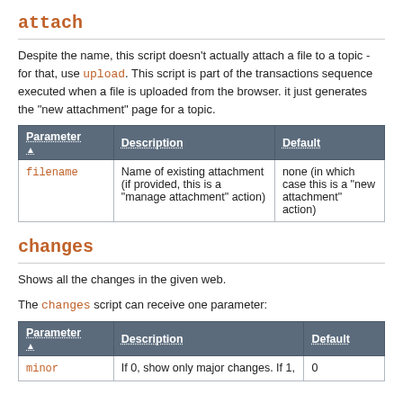attach
Despite the name, this script doesn't actually attach a file to a topic - for that, use upload. This script is part of the transactions sequence executed when a file is uploaded from the browser. it just generates the "new attachment" page for a topic.
| Parameter ▲ | Description | Default |
| --- | --- | --- |
| filename | Name of existing attachment (if provided, this is a "manage attachment" action) | none (in which case this is a "new attachment" action) |
changes
Shows all the changes in the given web.
The changes script can receive one parameter:
| Parameter ▲ | Description | Default |
| --- | --- | --- |
| minor | If 0, show only major changes. If 1, | 0 |